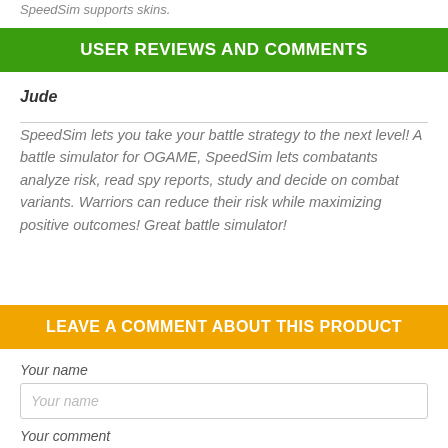SpeedSim supports skins.
USER REVIEWS AND COMMENTS
Jude
SpeedSim lets you take your battle strategy to the next level! A battle simulator for OGAME, SpeedSim lets combatants analyze risk, read spy reports, study and decide on combat variants. Warriors can reduce their risk while maximizing positive outcomes! Great battle simulator!
LEAVE A COMMENT ABOUT THIS PRODUCT
Your name
Your name
Your comment